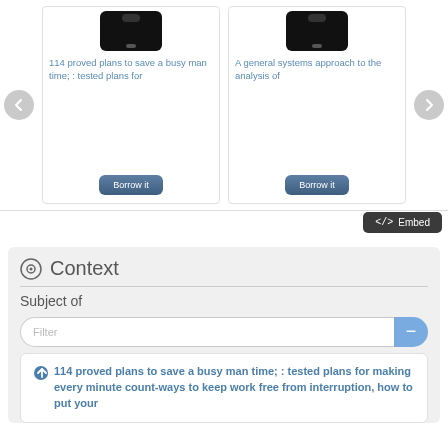[Figure (screenshot): Carousel with two book cards, each showing a smartphone/device image, a blue book title, and a 'Borrow it' button. Left card: '114 proved plans to save a busy man time; : tested plans for'. Right card: 'A general systems approach to the analysis of']
Borrow it
Borrow it
[Figure (screenshot): Embed button with code icon (<>) and label 'Embed']
Context
Subject of
Filter
114 proved plans to save a busy man time; : tested plans for making every minute count-ways to keep work free from interruption, how to put your